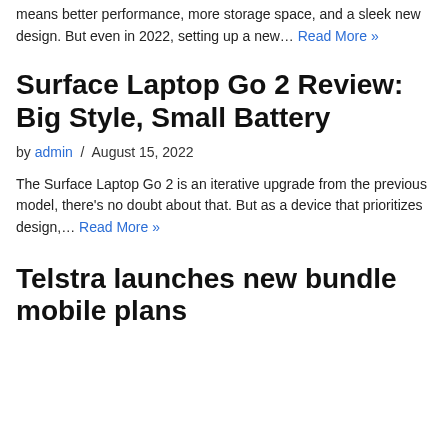means better performance, more storage space, and a sleek new design. But even in 2022, setting up a new… Read More »
Surface Laptop Go 2 Review: Big Style, Small Battery
by admin / August 15, 2022
The Surface Laptop Go 2 is an iterative upgrade from the previous model, there's no doubt about that. But as a device that prioritizes design,… Read More »
Telstra launches new bundle mobile plans